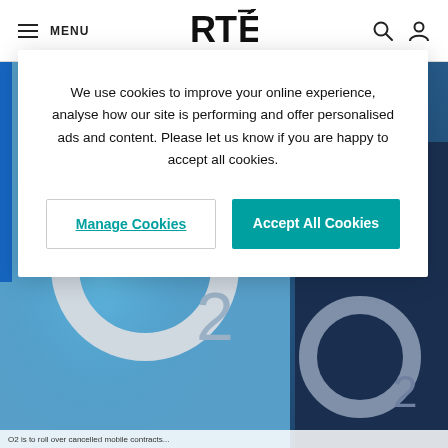RTÉ — MENU
[Figure (screenshot): RTÉ website navigation bar with hamburger menu icon, MENU text, RTÉ logo in center, search and user account icons on right]
[Figure (photo): Background photo showing O2 telecom brand logos — large O2 lettering on blue backgrounds, two panels side by side]
We use cookies to improve your online experience, analyse how our site is performing and offer personalised ads and content. Please let us know if you are happy to accept all cookies.
Manage Cookies
Accept All Cookies